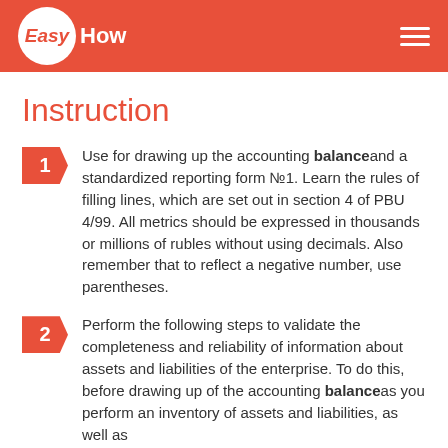EasyHow
Instruction
Use for drawing up the accounting balance and a standardized reporting form №1. Learn the rules of filling lines, which are set out in section 4 of PBU 4/99. All metrics should be expressed in thousands or millions of rubles without using decimals. Also remember that to reflect a negative number, use parentheses.
Perform the following steps to validate the completeness and reliability of information about assets and liabilities of the enterprise. To do this, before drawing up of the accounting balance as you perform an inventory of assets and liabilities, as well as